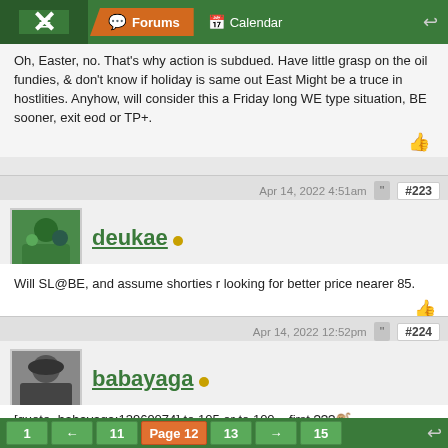Forums | Calendar
Oh, Easter, no. That's why action is subdued. Have little grasp on the oil fundies, & don't know if holiday is same out East Might be a truce in hostlities. Anyhow, will consider this a Friday long WE type situation, BE sooner, exit eod or TP+.
Apr 14, 2022 4:51am  #223
deukae
Will SL@BE, and assume shorties r looking for better price nearer 85.
Apr 14, 2022 12:52pm  #224
babayaga
[quote=babayaga;13969074] to 105 or to 100.., first ???🐒

first came 105.., to be precise 104.98 for now and from 102.5 to 105...
day have not finished yet
1  ←  11  Page 12  13  →  15